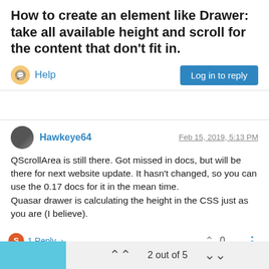How to create an element like Drawer: take all available height and scroll for the content that don't fit in.
Help
Log in to reply
Hawkeye64
Feb 15, 2019, 5:13 PM
QScrollArea is still there. Got missed in docs, but will be there for next website update. It hasn't changed, so you can use the 0.17 docs for it in the mean time.
Quasar drawer is calculating the height in the CSS just as you are (I believe).
1 Reply
0
2 out of 5